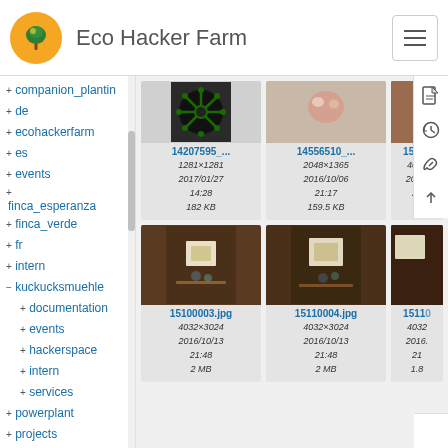Eco Hacker Farm
+ companion_planting
+ de
+ ecohackerfarm
+ es
+ events
+ finca_esperanza
+ finca_verde
+ fr
+ intern
- kuckucksmuehle
+ documentation
+ events
+ hackerspace
+ intern
+ services
+ powerplant
+ projects
+ readonly
[Figure (screenshot): Image card for 14207595_... showing a dark circular gear/sun graphic, dimensions 1281x1281, date 2017/01/27 14:28, size 182 KB]
[Figure (screenshot): Image card for 14556510_... showing a close-up photo, dimensions 2048x1365, date 2016/10/06 21:17, size 159.5 KB]
[Figure (screenshot): Partial image card for 15100... on right edge]
[Figure (screenshot): Image card for 15100003.jpg showing a PCB/electronics photo, dimensions 4032x3024, date 2016/10/13 21:48, size 2 MB]
[Figure (screenshot): Image card for 15110004.jpg showing a PCB/electronics photo, dimensions 4032x3024, date 2016/10/13 21:48, size 2 MB]
[Figure (screenshot): Partial image card for 15110... on right edge, 4032x..., 2016.../21..., 1.8...]